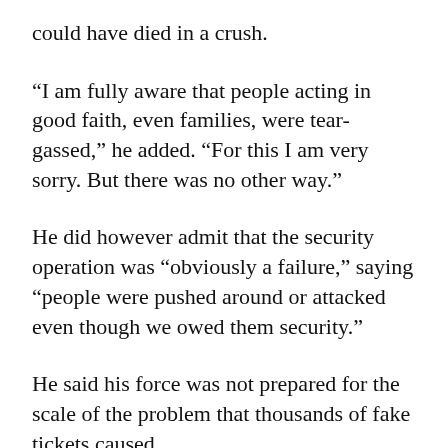could have died in a crush.
“I am fully aware that people acting in good faith, even families, were tear-gassed,” he added. “For this I am very sorry. But there was no other way.”
He did however admit that the security operation was “obviously a failure,” saying “people were pushed around or attacked even though we owed them security.”
He said his force was not prepared for the scale of the problem that thousands of fake tickets caused.